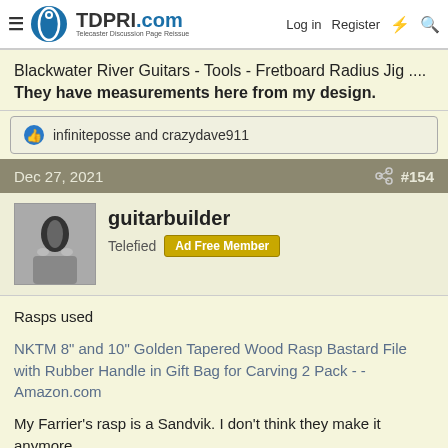TDPRI.com - Telecaster Discussion Page Reissue | Log in | Register
Blackwater River Guitars - Tools - Fretboard Radius Jig .... They have measurements here from my design.
infiniteposse and crazydave911
Dec 27, 2021  #154
guitarbuilder
Telefied  Ad Free Member
Rasps used
NKTM 8" and 10" Golden Tapered Wood Rasp Bastard File with Rubber Handle in Gift Bag for Carving 2 Pack - - Amazon.com
My Farrier's rasp is a Sandvik. I don't think they make it anymore.
This looks close...